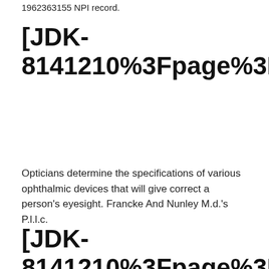1962363155 NPI record.
[JDK-8141210%3Fpage%3Dcom.atlassian.jira.plugin.system
Opticians determine the specifications of various ophthalmic devices that will give correct a person's eyesight. Francke And Nunley M.d.'s P.l.l.c.
[JDK-8141210%3Fpage%3Dcom.atla